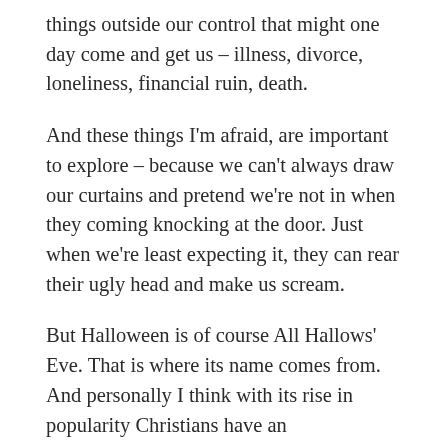things outside our control that might one day come and get us – illness, divorce, loneliness, financial ruin, death.
And these things I'm afraid, are important to explore – because we can't always draw our curtains and pretend we're not in when they coming knocking at the door. Just when we're least expecting it, they can rear their ugly head and make us scream.
But Halloween is of course All Hallows' Eve. That is where its name comes from. And personally I think with its rise in popularity Christians have an